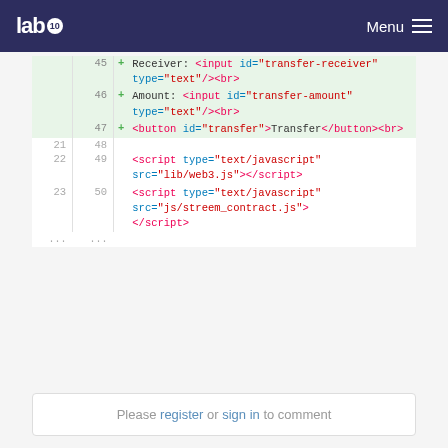lab10 Menu
[Figure (screenshot): Code diff view showing HTML lines 45-50 and 21-23. Added lines (45-47) show HTML form elements: Receiver input, Amount input, and Transfer button. Lines 48-50 show script tags loading web3.js and streem_contract.js.]
Please register or sign in to comment